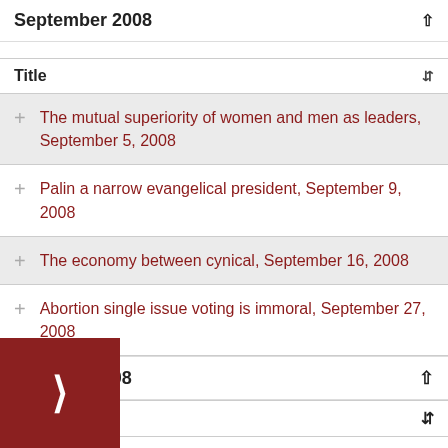September 2008
Title
The mutual superiority of women and men as leaders, September 5, 2008
Palin a narrow evangelical president, September 9, 2008
The economy between cynical, September 16, 2008
Abortion single issue voting is immoral, September 27, 2008
October 2008
Title